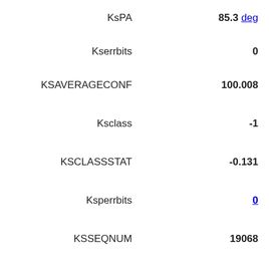KsPA   85.3 deg
Kserrbits   0
KSAVERAGECONF   100.008
Ksclass   -1
KSCLASSSTAT   -0.131
Ksperrbits   0
KSSEQNUM   19068
Ksxi   0.007931 arcsec